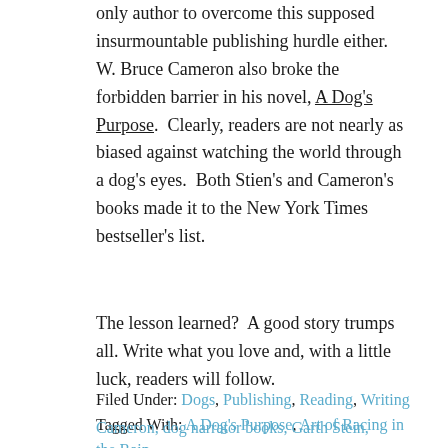only author to overcome this supposed insurmountable publishing hurdle either.  W. Bruce Cameron also broke the forbidden barrier in his novel, A Dog's Purpose.  Clearly, readers are not nearly as biased against watching the world through a dog's eyes.  Both Stien's and Cameron's books made it to the New York Times bestseller's list.
The lesson learned?  A good story trumps all.  Write what you love and, with a little luck, readers will follow.
Filed Under: Dogs, Publishing, Reading, Writing
Tagged With: A Dog's Purpose, Art of Racing in the Rain, Cameron, dog narrator books, Garth Stein,